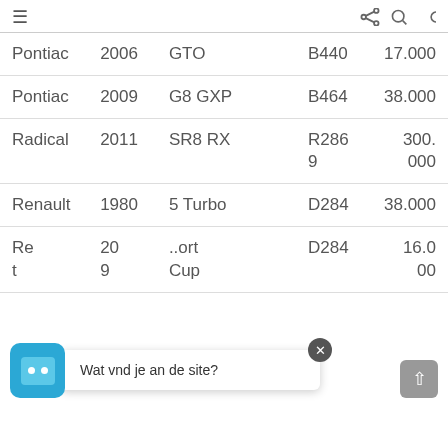≡  🔗 🔍 ⏾
| Make | Year | Model | Code | Price |
| --- | --- | --- | --- | --- |
| Pontiac | 2006 | GTO | B440 | 17.000 |
| Pontiac | 2009 | G8 GXP | B464 | 38.000 |
| Radical | 2011 | SR8 RX | R2869 | 300.000 |
| Renault | 1980 | 5 Turbo | D284 | 38.000 |
| Renault | 2009 | [Sport Cup] | D284 | 16.000 |